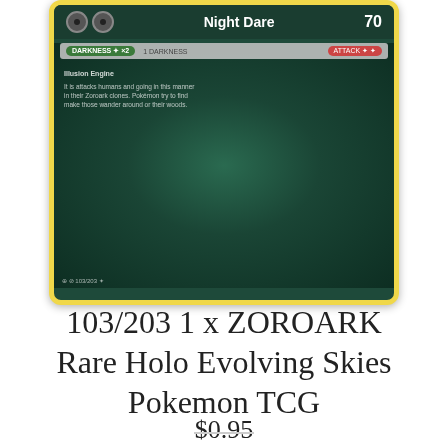[Figure (photo): Pokemon TCG card showing Zoroark with 'Night Dare' attack dealing 70 damage, dark green holographic background, yellow border, card number 103/203]
103/203 1 x ZOROARK Rare Holo Evolving Skies Pokemon TCG
$0.95